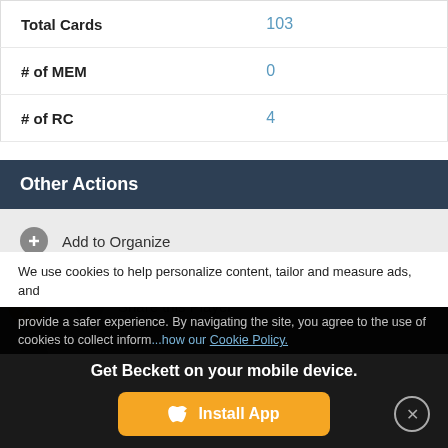|  |  |
| --- | --- |
| Total Cards | 103 |
| # of MEM | 0 |
| # of RC | 4 |
Other Actions
Add to Organize
Share this Player
We use cookies to help personalize content, tailor and measure ads, and provide a safer experience. By navigating the site, you agree to the use of cookies to collect information. You can read our Cookie Policy.
Get Beckett on your mobile device.
Install App